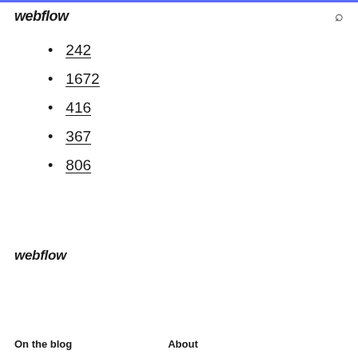webflow
242
1672
416
367
806
webflow
On the blog   About